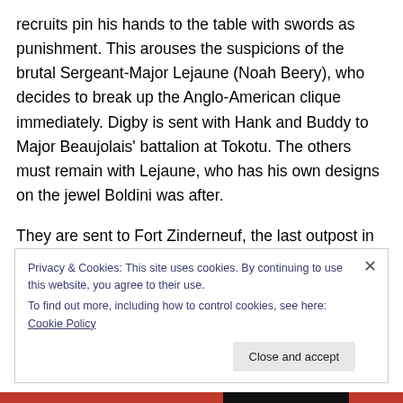recruits pin his hands to the table with swords as punishment. This arouses the suspicions of the brutal Sergeant-Major Lejaune (Noah Beery), who decides to break up the Anglo-American clique immediately. Digby is sent with Hank and Buddy to Major Beaujolais' battalion at Tokotu. The others must remain with Lejaune, who has his own designs on the jewel Boldini was after.
They are sent to Fort Zinderneuf, the last outpost in the Sahara. It is a place that is “Often under the fire of the Arab outlaws, always under the fire of the terrible desert sun.”
Privacy & Cookies: This site uses cookies. By continuing to use this website, you agree to their use.
To find out more, including how to control cookies, see here: Cookie Policy